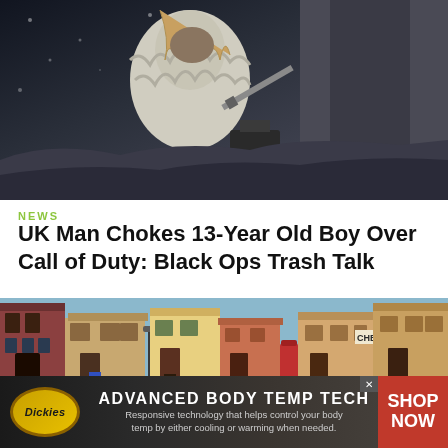[Figure (screenshot): Dark action game screenshot showing a character in snowy/grey environment with weapons - appears to be Call of Duty: Black Ops style]
NEWS
UK Man Chokes 13-Year Old Boy Over Call of Duty: Black Ops Trash Talk
[Figure (screenshot): Retro RPG-style pixel art town scene with colorful buildings including a chess shop, red phone booth, and various cartoon characters on a sandy ground]
[Figure (photo): Dickies advertisement banner: ADVANCED BODY TEMP TECH - Responsive technology that helps control your body temp by either cooling or warming when needed. SHOP NOW]